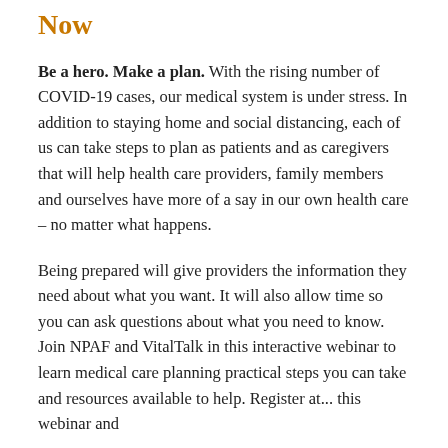Now
Be a hero. Make a plan. With the rising number of COVID-19 cases, our medical system is under stress. In addition to staying home and social distancing, each of us can take steps to plan as patients and as caregivers that will help health care providers, family members and ourselves have more of a say in our own health care – no matter what happens.
Being prepared will give providers the information they need about what you want. It will also allow time so you can ask questions about what you need to know.  Join NPAF and VitalTalk in this interactive webinar to learn medical care planning practical steps you can take and resources available to help. Register at... (continues)